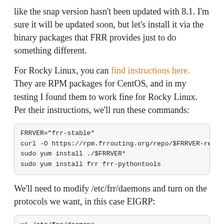like the snap version hasn't been updated with 8.1. I'm sure it will be updated soon, but let's install it via the binary packages that FRR provides just to do something different.
For Rocky Linux, you can find instructions here. They are RPM packages for CentOS, and in my testing I found them to work fine for Rocky Linux. Per their instructions, we'll run these commands:
FRRVER="frr-stable"
curl -O https://rpm.frrouting.org/repo/$FRRVER-repo-1...
sudo yum install ./$FRRVER*
sudo yum install frr frr-pythontools
We'll need to modify /etc/frr/daemons and turn on the protocols we want, in this case EIGRP:
vi /etc/frr/daemons
---